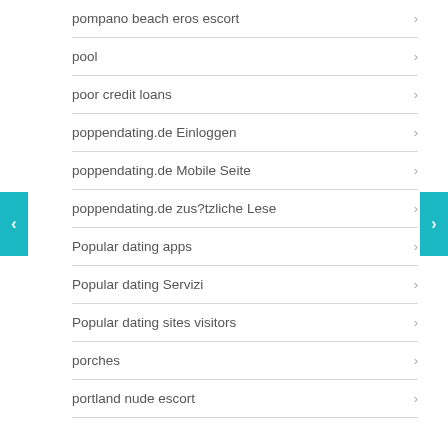pompano beach eros escort
pool
poor credit loans
poppendating.de Einloggen
poppendating.de Mobile Seite
poppendating.de zus?tzliche Lese
Popular dating apps
Popular dating Servizi
Popular dating sites visitors
porches
portland nude escort